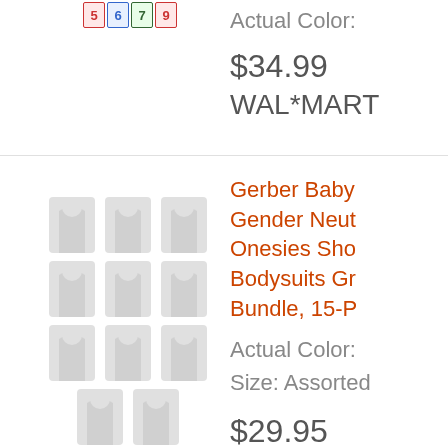[Figure (photo): Number tiles image showing 5 6 7 9 digits in colored tiles]
Actual Color:
$34.99
WAL*MART
[Figure (photo): Grid of 12 white/light gray Gerber baby onesie bodysuits arranged in 4 rows of 3]
Gerber Baby Gender Neutral Onesies Short Sleeve Bodysuits Grow Bundle, 15-P
Actual Color:
Size: Assorted
$29.95